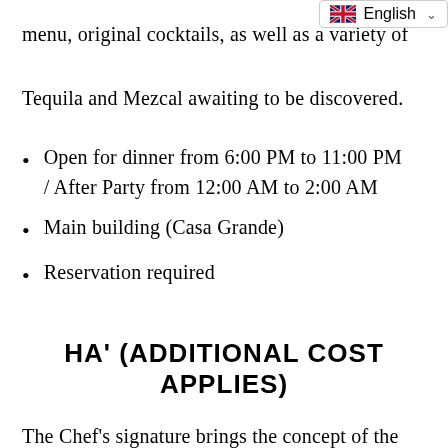menu, original cocktails, as well as a variety of Tequila and Mezcal awaiting to be discovered.
Open for dinner from 6:00 PM to 11:00 PM / After Party from 12:00 AM to 2:00 AM
Main building (Casa Grande)
Reservation required
HA' (ADDITIONAL COST APPLIES)
The Chef's signature brings the concept of the Mexican gastronomy as a personal experience.